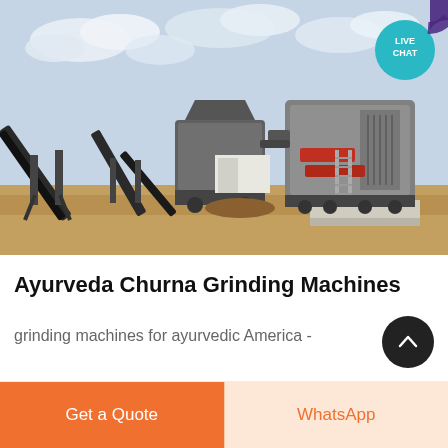[Figure (photo): Photograph of industrial grinding/crushing machines outdoors on a dirt lot with cloudy sky background. A 'LIVE CHAT' circular badge is overlaid in the top-right corner of the image.]
Ayurveda Churna Grinding Machines
grinding machines for ayurvedic America -